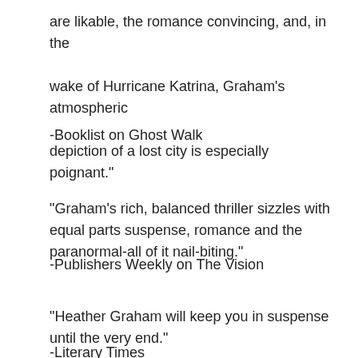are likable, the romance convincing, and, in the wake of Hurricane Katrina, Graham's atmospheric depiction of a lost city is especially poignant."
-Booklist on Ghost Walk
"Graham's rich, balanced thriller sizzles with equal parts suspense, romance and the paranormal-all of it nail-biting."
-Publishers Weekly on The Vision
"Heather Graham will keep you in suspense until the very end."
-Literary Times